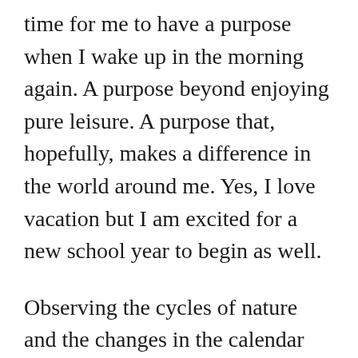time for me to have a purpose when I wake up in the morning again. A purpose beyond enjoying pure leisure. A purpose that, hopefully, makes a difference in the world around me. Yes, I love vacation but I am excited for a new school year to begin as well.
Observing the cycles of nature and the changes in the calendar year can be a helpful tool in developing a more Minimalist mindset. Since our lives and the world around us are constantly changing it